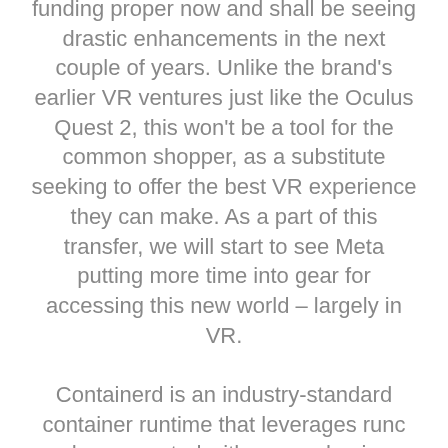funding proper now and shall be seeing drastic enhancements in the next couple of years. Unlike the brand's earlier VR ventures just like the Oculus Quest 2, this won't be a tool for the common shopper, as a substitute seeking to offer the best VR experience they can make. As a part of this transfer, we will start to see Meta putting more time into gear for accessing this new world – largely in VR. Containerd is an industry-standard container runtime that leverages runc and was created with an emphasis on simplicity, robustness and portability. Technology obtainable from Docker and its open source project, Moby has been leveraged by all main information center distributors and cloud suppliers. Many of those providers are leveraging Docker for their